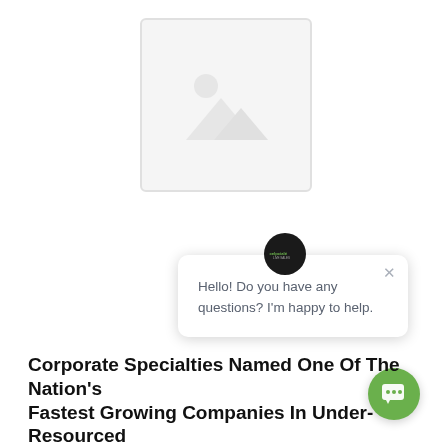[Figure (illustration): Broken image placeholder icon showing a mountain/landscape silhouette with a circle (sun), indicating a missing or unloaded image, inside a rounded rectangle border]
[Figure (screenshot): A chat widget popup showing an avatar logo circle, a close (X) button, and the message 'Hello! Do you have any questions? I'm happy to help.' with a green chat button in the bottom right corner]
Corporate Specialties Named One Of The Nation's Fastest Growing Companies In Under-Resourced